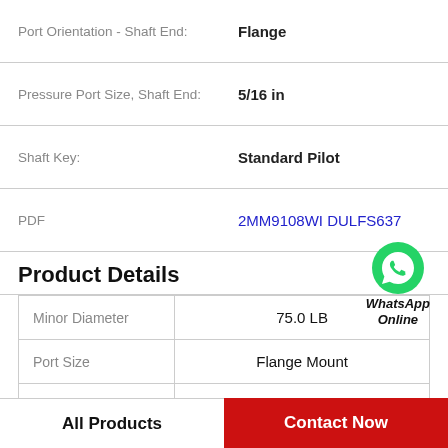| Property | Value |
| --- | --- |
| Port Orientation - Shaft End: | Flange |
| Pressure Port Size, Shaft End: | 5/16 in |
| Shaft Key: | Standard Pilot |
| PDF | 2MM9108WI DULFS637 |
Product Details
[Figure (logo): WhatsApp green phone icon with label 'WhatsApp Online']
| Property | Value |
| --- | --- |
| Minor Diameter | 75.0 LB |
| Port Size | Flange Mount |
| Port Type | Right Hand (CW) |
| Rotation | 3520VQ30A11-1CC20 |
All Products    Contact Now